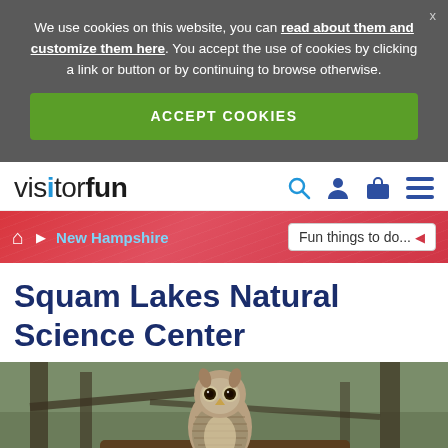We use cookies on this website, you can read about them and customize them here. You accept the use of cookies by clicking a link or button or by continuing to browse otherwise.
ACCEPT COOKIES
visitorfun
New Hampshire · Fun things to do...
Squam Lakes Natural Science Center
[Figure (photo): Barred owl perched on a branch in a forested setting, looking directly at the camera]